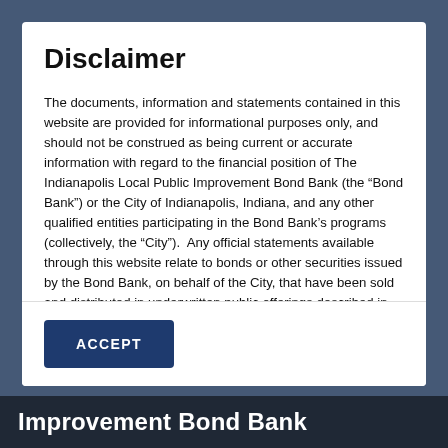Disclaimer
The documents, information and statements contained in this website are provided for informational purposes only, and should not be construed as being current or accurate information with regard to the financial position of The Indianapolis Local Public Improvement Bond Bank (the “Bond Bank”) or the City of Indianapolis, Indiana, and any other qualified entities participating in the Bond Bank’s programs (collectively, the “City”).  Any official statements available through this website relate to bonds or other securities issued by the Bond Bank, on behalf of the City, that have been sold and distributed in underwritten public offerings described in such official
ACCEPT
Improvement Bond Bank